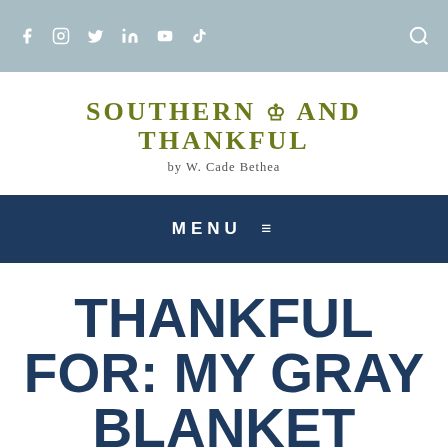Social media icons: Facebook, Instagram, Twitter, LinkedIn, YouTube, TikTok, Search
SOUTHERN AND THANKFUL by W. Cade Bethea
MENU
THANKFUL FOR: MY GRAY BLANKET
SEPTEMBER 18, 2014